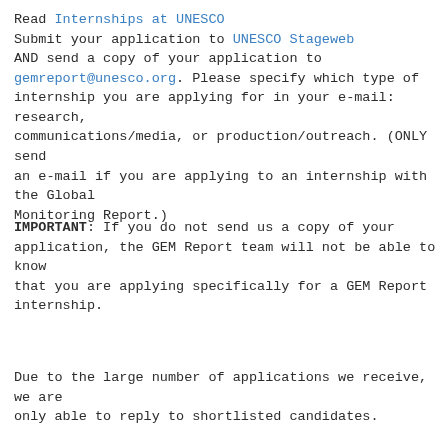Read Internships at UNESCO
Submit your application to UNESCO Stageweb
AND send a copy of your application to
gemreport@unesco.org. Please specify which type of internship you are applying for in your e-mail: research, communications/media, or production/outreach. (ONLY send an e-mail if you are applying to an internship with the Global Monitoring Report.)
IMPORTANT: If you do not send us a copy of your application, the GEM Report team will not be able to know that you are applying specifically for a GEM Report internship.
Due to the large number of applications we receive, we are only able to reply to shortlisted candidates.